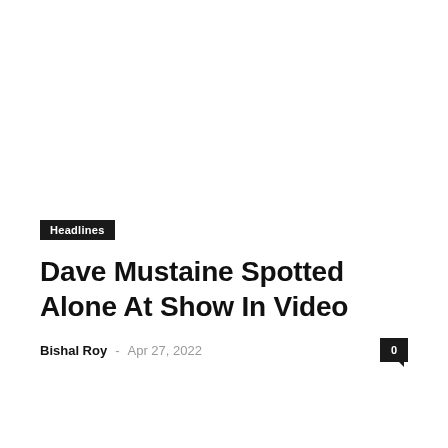Headlines
Dave Mustaine Spotted Alone At Show In Video
Bishal Roy · Apr 27, 2022